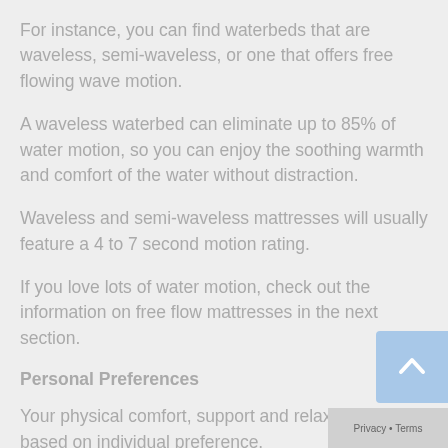For instance, you can find waterbeds that are waveless, semi-waveless, or one that offers free flowing wave motion.
A waveless waterbed can eliminate up to 85% of water motion, so you can enjoy the soothing warmth and comfort of the water without distraction.
Waveless and semi-waveless mattresses will usually feature a 4 to 7 second motion rating.
If you love lots of water motion, check out the information on free flow mattresses in the next section.
Personal Preferences
Your physical comfort, support and relaxation are all based on individual preference.